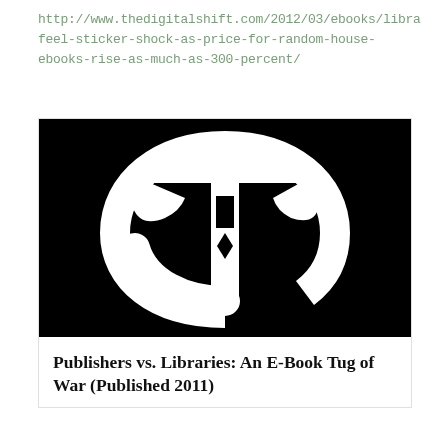http://www.thedigitalshift.com/2012/03/ebooks/libra feel-sticker-shock-as-price-for-random-house-ebooks-rise-as-much-as-300-percent/
[Figure (logo): New York Times logo — white gothic T on black background]
Publishers vs. Libraries: An E-Book Tug of War (Published 2011)